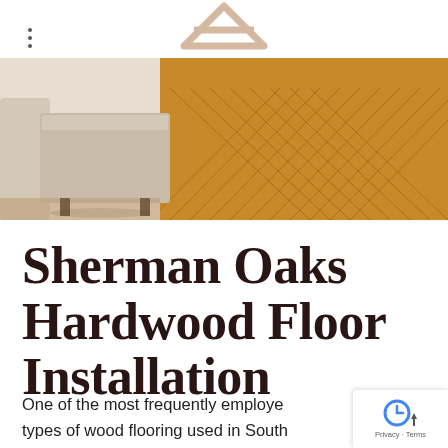[Figure (logo): A stylized triangular/arrow logo in light beige/tan color, representing the website brand]
[Figure (photo): Interior room photo showing a herringbone-patterned hardwood floor in warm honey-brown tones, with white upholstered furniture (sofa and ottoman) visible on the left side]
Sherman Oaks Hardwood Floor Installation
One of the most frequently employed types of wood flooring used in Southern California and throughout the United